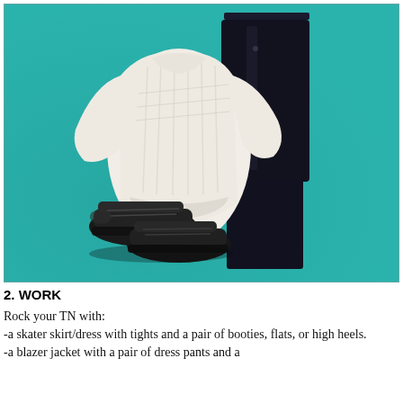[Figure (photo): Flat-lay photo of clothing on a teal/turquoise fabric background: a cream/white chunky knit sweater, dark navy/black skinny jeans laid vertically, and a pair of black low-top sneakers placed near the lower-left.]
2. WORK
Rock your TN with:
-a skater skirt/dress with tights and a pair of booties, flats, or high heels.
-a blazer jacket with a pair of dress pants and a